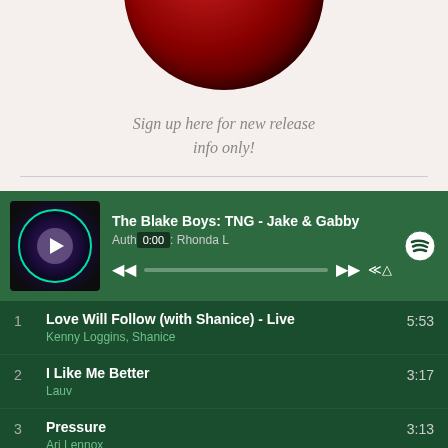[Figure (illustration): Partial view of a red vinyl record album, cropped at the top of the page]
Sign up here for new release info only!
[Figure (screenshot): Spotify playlist player showing 'The Blake Boys: TNG - Jake & Gabby' playlist by Author Rhonda L, with track listing: 1. Love Will Follow (with Shanice) - Live by Kenny Loggins, Shanice 5:53; 2. I Like Me Better by Lauv 3:17; 3. Pressure by Ari Lennox 3:13; 4. Close To You - Bodger's Radio Edit 4:02]